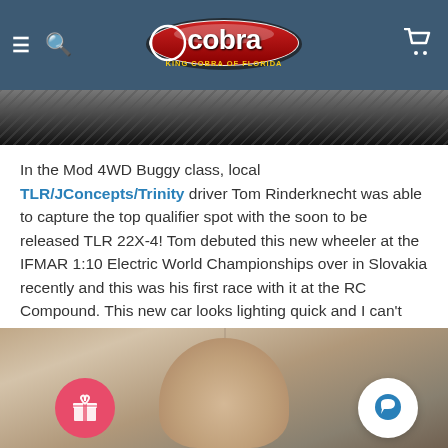King Cobra of Florida — navigation header
[Figure (photo): Dark carbon-fiber textured background strip at top of article]
In the Mod 4WD Buggy class, local TLR/JConcepts/Trinity driver Tom Rinderknecht was able to capture the top qualifier spot with the soon to be released TLR 22X-4! Tom debuted this new wheeler at the IFMAR 1:10 Electric World Championships over in Slovakia recently and this was his first race with it at the RC Compound. This new car looks lighting quick and I can't wait to see it more in action!
[Figure (photo): Photo of a bald person from above/forehead visible, tiled background, with pink gift icon button and white chat bubble button overlaid]